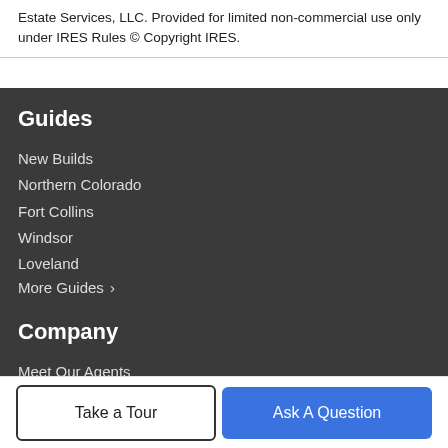Estate Services, LLC. Provided for limited non-commercial use only under IRES Rules © Copyright IRES.
Guides
New Builds
Northern Colorado
Fort Collins
Windsor
Loveland
More Guides ›
Company
Meet Our Agents
Contact Us
Take a Tour
Ask A Question